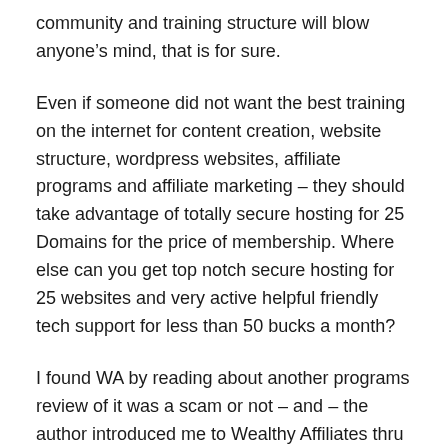community and training structure will blow anyone’s mind, that is for sure.
Even if someone did not want the best training on the internet for content creation, website structure, wordpress websites, affiliate programs and affiliate marketing – they should take advantage of totally secure hosting for 25 Domains for the price of membership. Where else can you get top notch secure hosting for 25 websites and very active helpful friendly tech support for less than 50 bucks a month?
I found WA by reading about another programs review of it was a scam or not – and – the author introduced me to Wealthy Affiliates thru a link and I